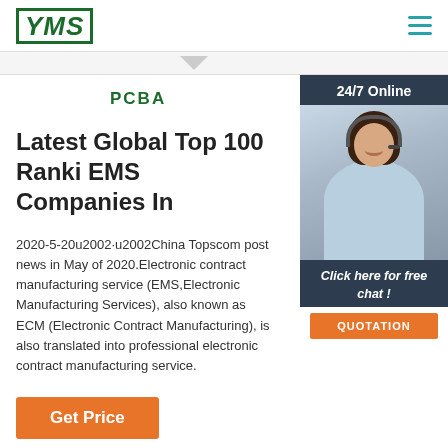YMS
PCBA
[Figure (photo): Customer service agent with headset, 24/7 Online chat panel with QUOTATION button]
Latest Global Top 100 Ranki EMS Companies In
2020-5-20u2002·u2002China Topscom post news in May of 2020.Electronic contract manufacturing service (EMS,Electronic Manufacturing Services), also known as ECM (Electronic Contract Manufacturing), is also translated into professional electronic contract manufacturing service.
Get Price